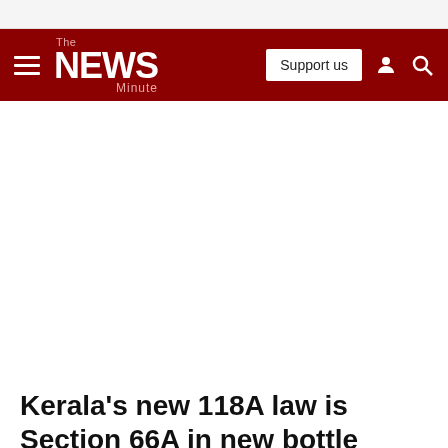The News Minute
Kerala's new 118A law is Section 66A in new bottle